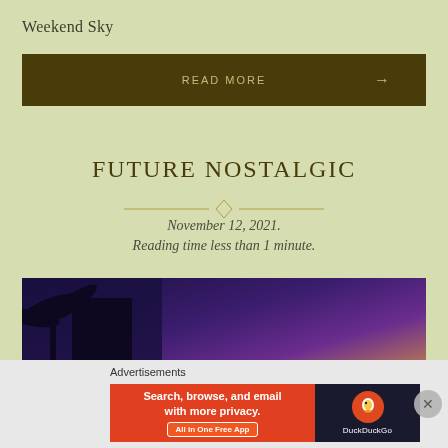Weekend Sky
READ MORE →
FUTURE NOSTALGIC
November 12, 2021.
Reading time less than 1 minute.
[Figure (photo): Twilight sky photo with palm tree silhouettes on the left and purple/mauve gradient sky]
Advertisements
Search, browse, and email with more privacy. All in One Free App — DuckDuckGo